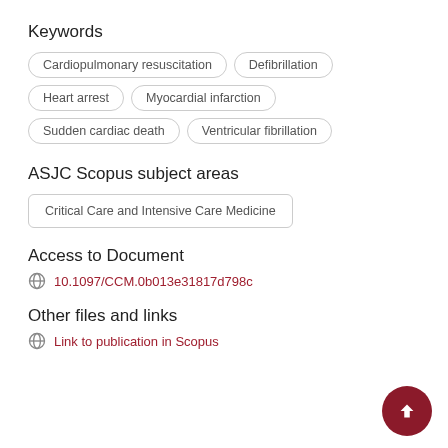Keywords
Cardiopulmonary resuscitation
Defibrillation
Heart arrest
Myocardial infarction
Sudden cardiac death
Ventricular fibrillation
ASJC Scopus subject areas
Critical Care and Intensive Care Medicine
Access to Document
10.1097/CCM.0b013e31817d798c
Other files and links
Link to publication in Scopus